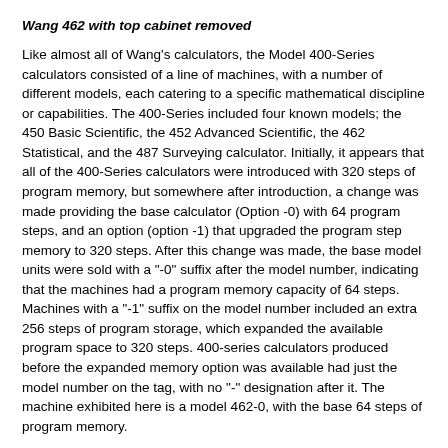Wang 462 with top cabinet removed
Like almost all of Wang's calculators, the Model 400-Series calculators consisted of a line of machines, with a number of different models, each catering to a specific mathematical discipline or capabilities. The 400-Series included four known models; the 450 Basic Scientific, the 452 Advanced Scientific, the 462 Statistical, and the 487 Surveying calculator. Initially, it appears that all of the 400-Series calculators were introduced with 320 steps of program memory, but somewhere after introduction, a change was made providing the base calculator (Option -0) with 64 program steps, and an option (option -1) that upgraded the program step memory to 320 steps. After this change was made, the base model units were sold with a "-0" suffix after the model number, indicating that the machines had a program memory capacity of 64 steps. Machines with a "-1" suffix on the model number included an extra 256 steps of program storage, which expanded the available program space to 320 steps. 400-series calculators produced before the expanded memory option was available had just the model number on the tag, with no "-" designation after it. The machine exhibited here is a model 462-0, with the base 64 steps of program memory.
The 400-Series machines all share a completely common architecture, with a "personality" board containing ROM code that provide the specific